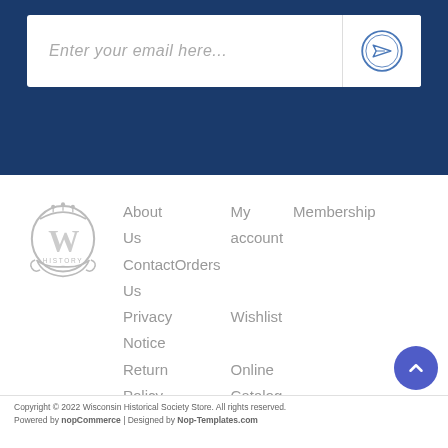[Figure (other): Email subscription input box with a paper plane send icon on dark blue background]
[Figure (logo): Wisconsin Historical Society Store logo - circular badge with W and HISTORY text in gray]
About Us
My account
Membership
ContactOrders
Us
Privacy Wishlist
Notice
Return Online
Policy   Catalog
Copyright © 2022 Wisconsin Historical Society Store. All rights reserved.
Powered by nopCommerce  |  Designed by Nop-Templates.com